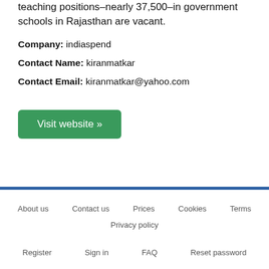teaching positions–nearly 37,500–in government schools in Rajasthan are vacant.
Company: indiaspend
Contact Name: kiranmatkar
Contact Email: kiranmatkar@yahoo.com
Visit website »
About us   Contact us   Prices   Cookies   Terms   Privacy policy   Register   Sign in   FAQ   Reset password